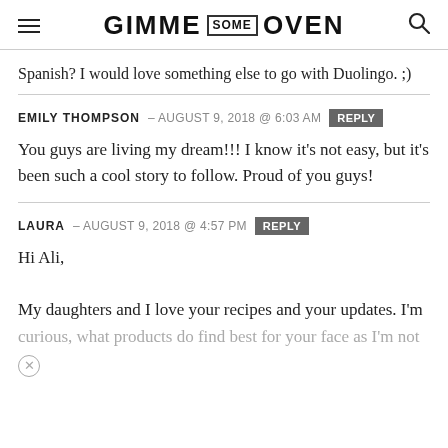GIMME SOME OVEN
Spanish? I would love something else to go with Duolingo. ;)
EMILY THOMPSON – AUGUST 9, 2018 @ 6:03 AM  REPLY
You guys are living my dream!!! I know it's not easy, but it's been such a cool story to follow. Proud of you guys!
LAURA – AUGUST 9, 2018 @ 4:57 PM  REPLY
Hi Ali,
My daughters and I love your recipes and your updates. I'm curious, what products do find best for your face as I'm not...